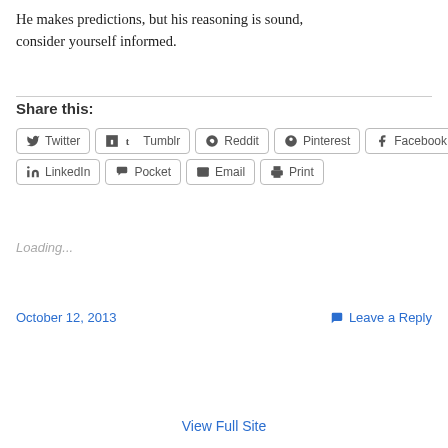He makes predictions, but his reasoning is sound, consider yourself informed.
Share this:
Twitter  Tumblr  Reddit  Pinterest  Facebook  LinkedIn  Pocket  Email  Print
Loading...
October 12, 2013
Leave a Reply
View Full Site